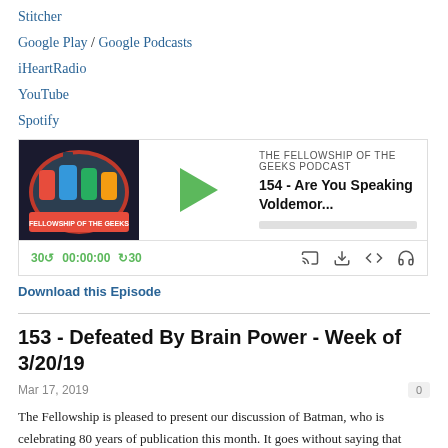Stitcher
Google Play / Google Podcasts
iHeartRadio
YouTube
Spotify
[Figure (screenshot): Podcast player widget for 'The Fellowship of the Geeks Podcast', episode '154 - Are You Speaking Voldemor...', with play button, progress bar, time controls showing 30↺ 00:00:00 ↻30, and icons for cast, download, embed, and settings.]
Download this Episode
153 - Defeated By Brain Power - Week of 3/20/19
Mar 17, 2019
The Fellowship is pleased to present our discussion of Batman, who is celebrating 80 years of publication this month. It goes without saying that Batman has been a very influential character, at times almost single-handedly carrying the load for superhero comics. We talk about his origins, how he's changed and grown, how rarely he cracks a smile, and a whole lot of other stuff. Plus our usual funny business, as well as our picks of the week.